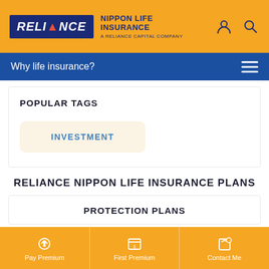RELIANCE NIPPON LIFE INSURANCE A RELIANCE CAPITAL COMPANY
Why life insurance?
POPULAR TAGS
INVESTMENT
RELIANCE NIPPON LIFE INSURANCE PLANS
PROTECTION PLANS
Pay Premium | First Premium | Contact Me